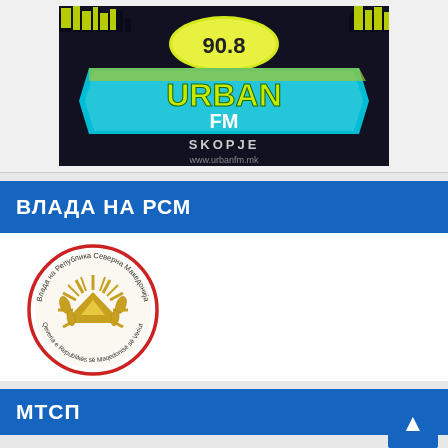[Figure (logo): Urban FM 90.8 Skopje radio station logo on dark background with website www.urbanfm.mk]
ВЛАДА НА РСМ
[Figure (logo): Official seal/emblem of the Government of the Republic of North Macedonia (Vlada na Republika Severna Makedonija / Qeveria e Republikës së Maqedonisë së Veriut), circular logo with Macedonian sun and wheat wreath in gold]
МТСП